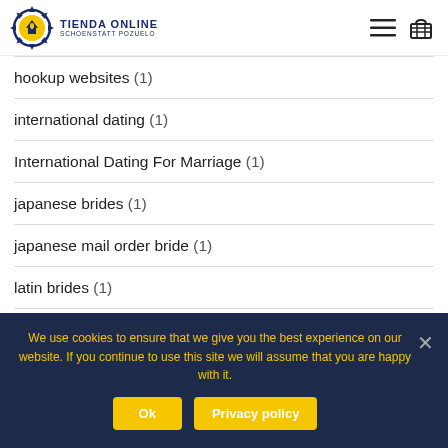TIENDA ONLINE SCHOENSTATT POZUELO
hookup websites (1)
international dating (1)
International Dating For Marriage (1)
japanese brides (1)
japanese mail order bride (1)
latin brides (1)
We use cookies to ensure that we give you the best experience on our website. If you continue to use this site we will assume that you are happy with it.